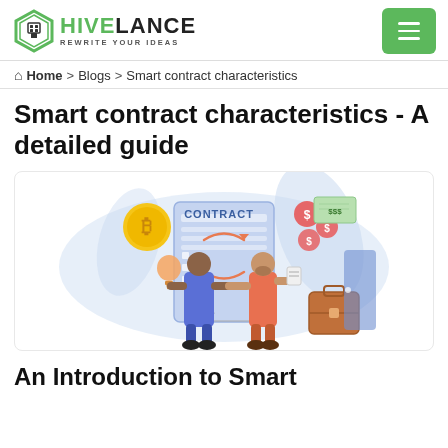HIVELANCE REWRITE YOUR IDEAS
Home > Blogs > Smart contract characteristics
Smart contract characteristics - A detailed guide
[Figure (illustration): Illustration of two people shaking hands over a contract document, with a Bitcoin coin, a lightbulb, dollar signs, and a briefcase in a blue-toned flat design style.]
An Introduction to Smart